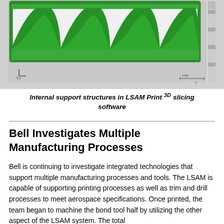[Figure (screenshot): Screenshot of LSAM Print 3D slicing software showing internal support structures as sinusoidal/wave-patterned green ribs inside a rectangular green-bordered frame, on a light gray background with coordinate axis indicator and scale bar.]
Internal support structures in LSAM Print 3D slicing software
Bell Investigates Multiple Manufacturing Processes
Bell is continuing to investigate integrated technologies that support multiple manufacturing processes and tools.  The LSAM is capable of supporting printing processes as well as trim and drill processes to meet aerospace specifications.  Once printed, the team began to machine the bond tool half by utilizing the other aspect of the LSAM system.  The total